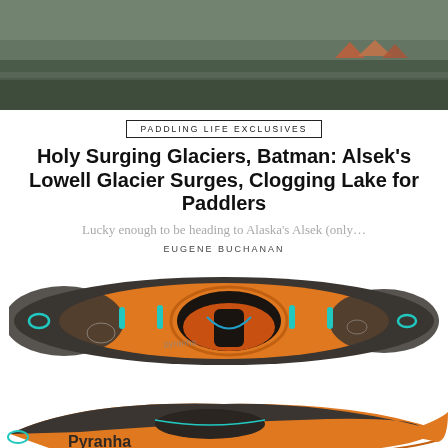[Figure (photo): Outdoor campsite near a glacial lake with tents visible in background, muted green-grey landscape]
PADDLING LIFE EXCLUSIVES
Holy Surging Glaciers, Batman: Alsek's Lowell Glacier Surges, Clogging Lake for Paddlers
Lucky enough to be heading to Alaska's Alsek (only…
EUGENE BUCHANAN
[Figure (photo): Top-down view of an orange and dark grey Pyranha kayak with teal/cyan accents and red cockpit interior]
[Figure (photo): Side profile view of an orange and dark grey Pyranha kayak showing the hull and Pyranha logo]
· Advertisement ·
[Figure (photo): Advertisement banner: MEN'S & WOMEN'S DRY SUITS with photo of paddlers on a lake and Mustang Survival logo]